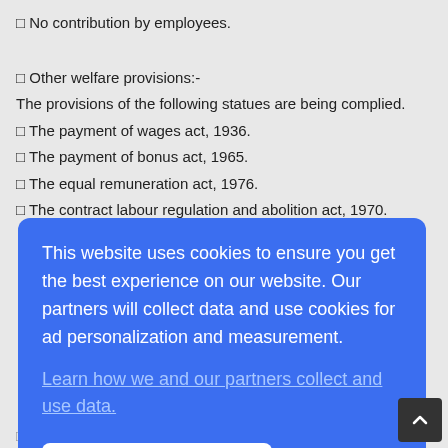□ No contribution by employees.
□ Other welfare provisions:-
The provisions of the following statues are being complied.
□ The payment of wages act, 1936.
□ The payment of bonus act, 1965.
□ The equal remuneration act, 1976.
□ The contract labour regulation and abolition act, 1970.
[Figure (screenshot): Cookie consent dialog overlay on a blue background with text: 'This website uses cookies to ensure you get the best experience on our website. Our partners will collect data and use cookies for ad personalization and measurement.' with a link 'Learn how we and our partners collect and use data.' and an OK button.]
□ Housing facility.